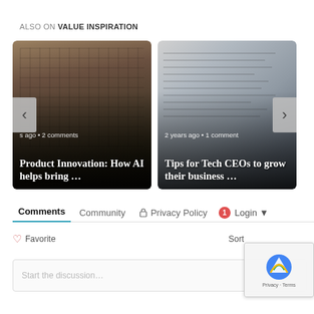ALSO ON VALUE INSPIRATION
[Figure (screenshot): Article card with laptop/keyboard image and text: '...s ago • 2 comments' and title 'Product Innovation: How AI helps bring ...']
[Figure (screenshot): Article card with document/paper image and text: '2 years ago • 1 comment' and title 'Tips for Tech CEOs to grow their business ...']
Comments   Community   🔒 Privacy Policy   1  Login
♡ Favorite   Sort
Start the discussion...